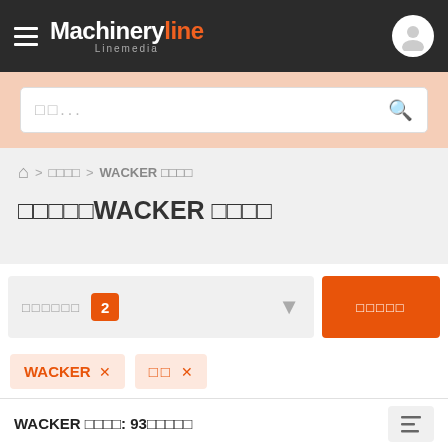Machineryline Linemedia
□□...
□□□□ > WACKER □□□□
□□□□□WACKER □□□□
□□□□□□ 2
□□□□□
WACKER ×
□□ ×
WACKER □□□□: 93□□□□□